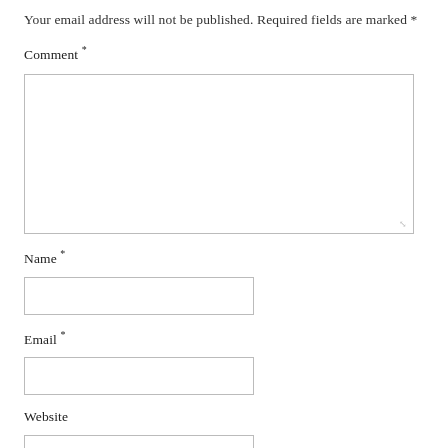Your email address will not be published. Required fields are marked *
Comment *
[Figure (other): Large textarea input box for comment field with resize handle in bottom right corner]
Name *
[Figure (other): Single-line text input box for name field]
Email *
[Figure (other): Single-line text input box for email field]
Website
[Figure (other): Single-line text input box for website field (partially visible)]